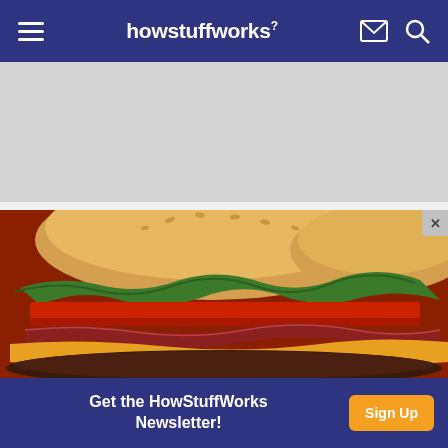howstuffworks
[Figure (photo): Gray placeholder advertisement block]
[Figure (photo): Close-up photo of a juicy cheeseburger with sesame seed bun, lettuce, tomato, bacon, and melted cheese on a red background]
Get the HowStuffWorks Newsletter!  Sign Up